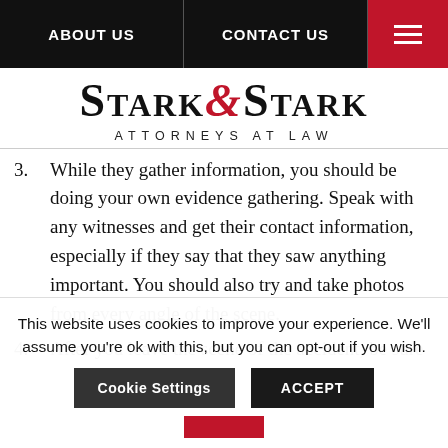ABOUT US | CONTACT US
[Figure (logo): Stark & Stark Attorneys at Law logo]
3. While they gather information, you should be doing your own evidence gathering. Speak with any witnesses and get their contact information, especially if they say that they saw anything important. You should also try and take photos from every angle of the scene.
4. After you leave the scene of the accident, be sure…
This website uses cookies to improve your experience. We'll assume you're ok with this, but you can opt-out if you wish.